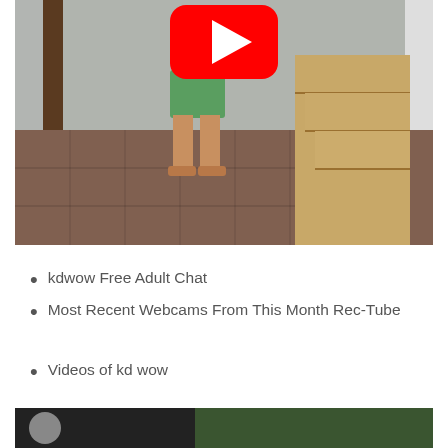[Figure (screenshot): YouTube video thumbnail showing a person standing in green shorts with bare feet on a tiled floor, near wooden stairs and a door, with a YouTube play button overlay at the top center.]
kdwow Free Adult Chat
Most Recent Webcams From This Month Rec-Tube
Videos of kd wow
[Figure (screenshot): Partial bottom thumbnail showing a dark background with a circular icon on the left and a dark green area on the right.]